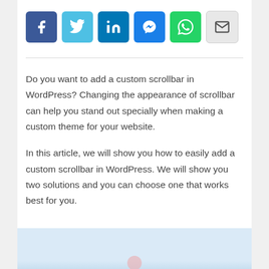[Figure (infographic): A row of six social share buttons: Facebook (dark blue), Twitter (light blue), LinkedIn (blue), Messenger (blue), WhatsApp (green), Email (light gray)]
Do you want to add a custom scrollbar in WordPress? Changing the appearance of scrollbar can help you stand out specially when making a custom theme for your website.
In this article, we will show you how to easily add a custom scrollbar in WordPress. We will show you two solutions and you can choose one that works best for you.
[Figure (screenshot): Bottom of page showing a light blue image preview area partially visible]